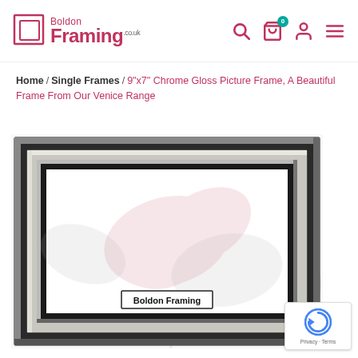[Figure (logo): Boldon Framing logo with pink square bracket icon and pink text]
Home / Single Frames / 9"x7" Chrome Gloss Picture Frame, A Beautiful Frame From Our Venice Range
[Figure (photo): Chrome gloss picture frame (Venice Range) displayed upright showing Boldon Framing branding inside on a white background with pink leaf pattern]
Privacy · Terms